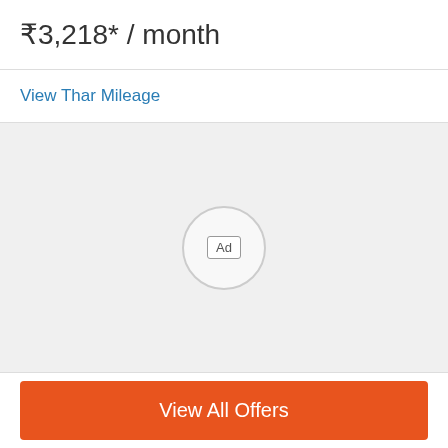₹3,218* / month
View Thar Mileage
[Figure (other): Advertisement placeholder with 'Ad' badge inside a circular border on a light gray background]
View All Offers